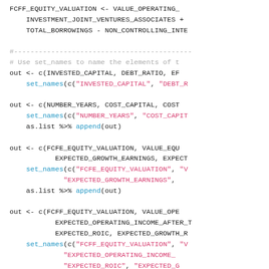R code snippet showing FCFF/FCFE equity valuation variable assignments using set_names and as.list %>% append patterns